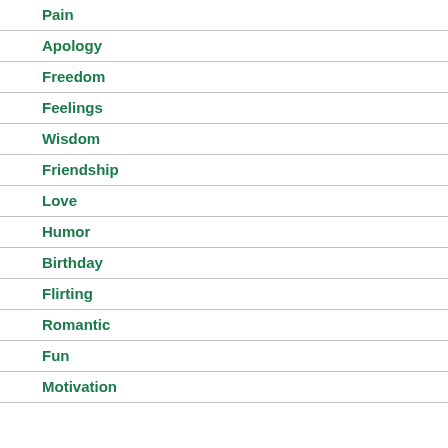Pain
Apology
Freedom
Feelings
Wisdom
Friendship
Love
Humor
Birthday
Flirting
Romantic
Fun
Motivation